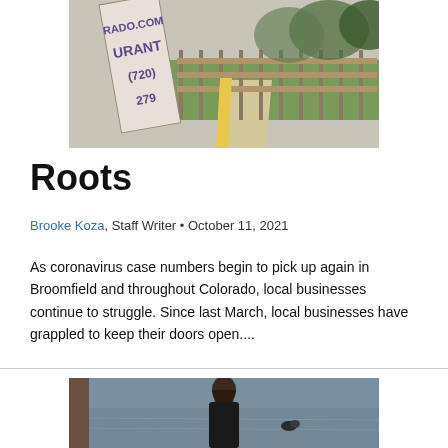[Figure (photo): Outdoor photo showing a restaurant sign with partial text 'RANT', '(720)', '279' and a long wooden fence along a path with grass and trees in the background.]
Roots
Brooke Koza, Staff Writer • October 11, 2021
As coronavirus case numbers begin to pick up again in Broomfield and throughout Colorado, local businesses continue to struggle. Since last March, local businesses have grappled to keep their doors open....
[Figure (photo): Photo of a young woman with long dark hair standing outdoors near a body of water with a duck visible in the background.]